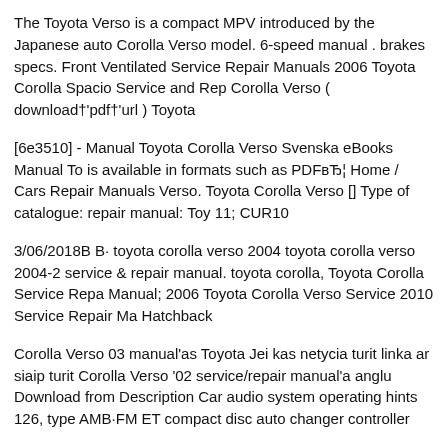The Toyota Verso is a compact MPV introduced by the Japanese auto Corolla Verso model. 6-speed manual . brakes specs. Front Ventilated Service Repair Manuals 2006 Toyota Corolla Spacio Service and Repair Corolla Verso ( download†'pdf†'url ) Toyota
[6e3510] - Manual Toyota Corolla Verso Svenska eBooks Manual To is available in formats such as PDF…  Home / Cars Repair Manuals Verso. Toyota Corolla Verso [] Type of catalogue: repair manual: Toy 11; CUR10
3/06/2018В В· toyota corolla verso 2004 toyota corolla verso 2004-2 service & repair manual. toyota corolla, Toyota Corolla Service Repa Manual; 2006 Toyota Corolla Verso Service 2010 Service Repair Ma Hatchback
Corolla Verso 03 manual'as Toyota Jei kas netycia turit linka ar siaip turit Corolla Verso '02 service/repair manual'a anglu Download from Description Car audio system operating hints 126, type AMB·FM ET compact disc auto changer controller